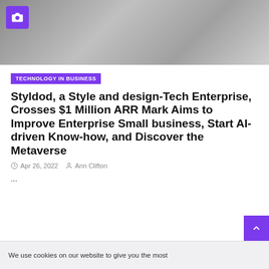[Figure (photo): Bedroom scene with gray bedding, pillows, and a camera icon badge in the upper left corner]
TECHNOLOGY IN BUSINESS
Styldod, a Style and design-Tech Enterprise, Crosses $1 Million ARR Mark Aims to Improve Enterprise Small business, Start AI-driven Know-how, and Discover the Metaverse
Apr 26, 2022   Ann Clifton
...
We use cookies on our website to give you the most